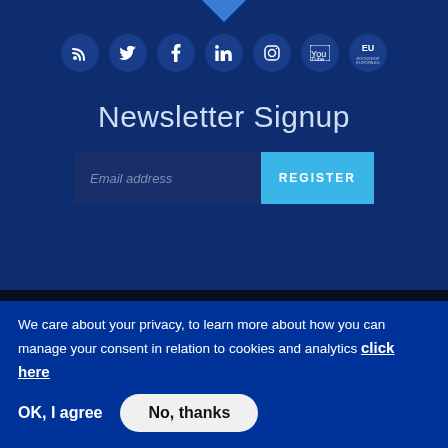[Figure (logo): Social media icons in dark blue circles: RSS feed, Twitter, Facebook, LinkedIn, Instagram, YouTube, EU bookshop]
Newsletter Signup
[Figure (screenshot): Email address input field and REGISTER button]
[Figure (logo): EUSPA logo with yellow arc and EU flag]
We care about your privacy, to learn more about how you can manage your consent in relation to cookies and analytics click here
OK, I agree
No, thanks